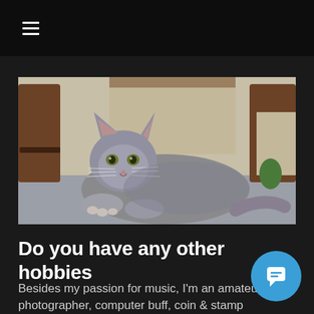≡
[Figure (photo): A gray cat lying on a carpet, looking directly at the camera. Wooden chairs and furniture visible in the background.]
Do you have any other hobbies
Besides my passion for music, I'm an amateur photographer, computer buff, coin & stamp